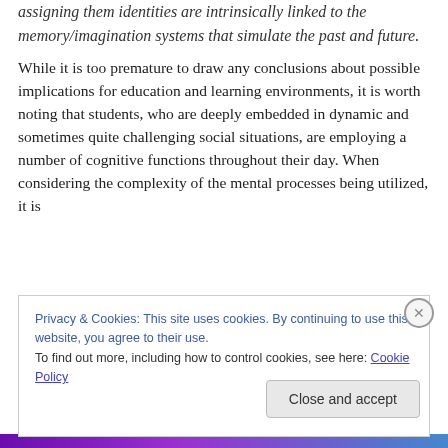regions responsible for forming 'personality models' and assigning them identities are intrinsically linked to the memory/imagination systems that simulate the past and future.
While it is too premature to draw any conclusions about possible implications for education and learning environments, it is worth noting that students, who are deeply embedded in dynamic and sometimes quite challenging social situations, are employing a number of cognitive functions throughout their day. When considering the complexity of the mental processes being utilized, it is
Privacy & Cookies: This site uses cookies. By continuing to use this website, you agree to their use.
To find out more, including how to control cookies, see here: Cookie Policy
Close and accept